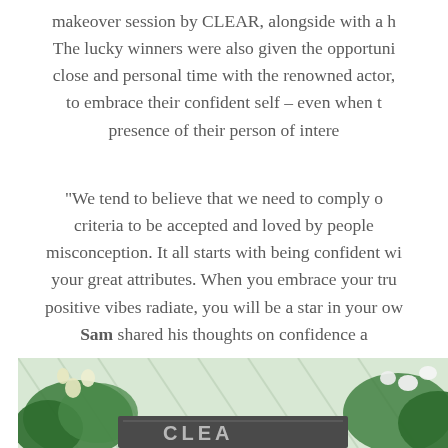makeover session by CLEAR, alongside with a h... The lucky winners were also given the opportuni... close and personal time with the renowned actor, to embrace their confident self – even when t... presence of their person of intere...
"We tend to believe that we need to comply o... criteria to be accepted and loved by people... misconception. It all starts with being confident wi... your great attributes. When you embrace your tru... positive vibes radiate, you will be a star in your ow... Sam shared his thoughts on confidence a...
[Figure (photo): A photo showing what appears to be a greenhouse or garden setting with orchids and green plants, with a dark signage element partially visible at the bottom showing 'CLEAR' branding.]